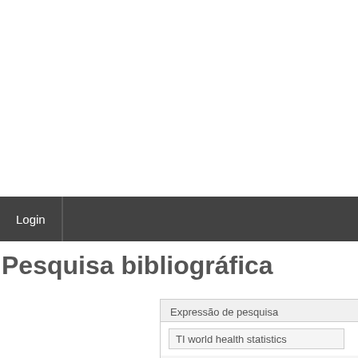Login
Pesquisa bibliográfica
Expressão de pesquisa
TI world health statistics